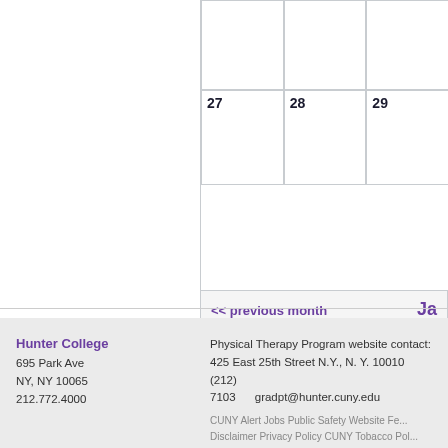| 27 | 28 | 29 |
<< previous month
Ja
Hunter College
695 Park Ave
NY, NY 10065
212.772.4000
Physical Therapy Program website contact:
425 East 25th Street N.Y., N. Y. 10010    (212) 7103    gradpt@hunter.cuny.edu
CUNY Alert   Jobs   Public Safety   Website Fe...
Disclaimer   Privacy Policy   CUNY Tobacco Pol...
About Hunter   Academics   Admissions   O...
Students   Libraries   Research   Make a Gi...